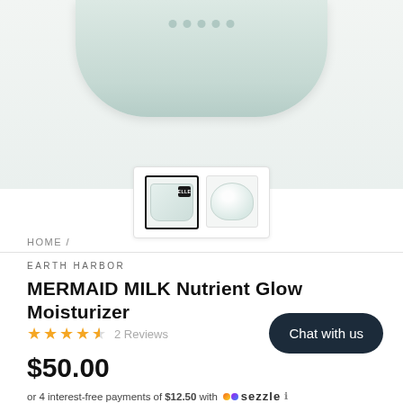[Figure (photo): Product photo of MERMAID MILK Nutrient Glow Moisturizer jar, top portion visible with a pale mint/green color]
[Figure (screenshot): Two product thumbnail images: first thumbnail selected with black border showing jar with ELLE badge, second showing open jar from above]
HOME /
EARTH HARBOR
MERMAID MILK Nutrient Glow Moisturizer
★★★★½ 2 Reviews
Chat with us
$50.00
or 4 interest-free payments of $12.50 with  sezzle ℹ